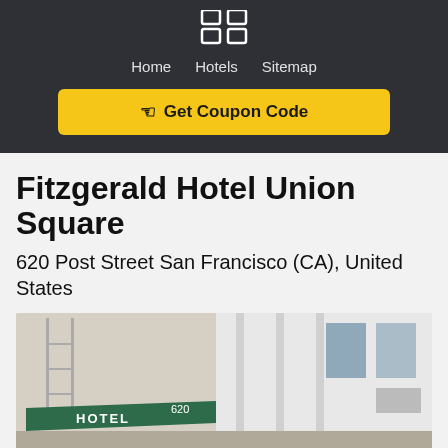[Figure (logo): Grid/app icon logo with four squares, white on dark background]
Home   Hotels   Sitemap
[Figure (other): Yellow button with hand pointer icon and text 'Get Coupon Code']
Fitzgerald Hotel Union Square
620 Post Street San Francisco (CA), United States
[Figure (photo): Exterior photo of Fitzgerald Hotel at 620 Post Street, showing green awning with 'HOTEL' and 'Fitzgerald' text, and white building facade]